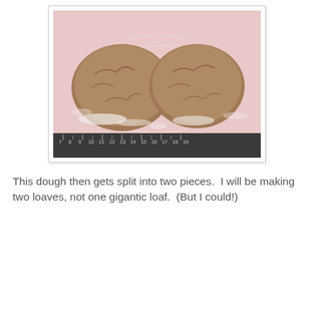[Figure (photo): Two rounded balls of bread dough resting on a pink silicone baking mat with measurement markings. A ruler is visible along the bottom edge showing measurements from approximately 7 to 19. The dough is brown/tan in color with a rough, cracked surface texture and floury appearance.]
This dough then gets split into two pieces.  I will be making two loaves, not one gigantic loaf.  (But I could!)